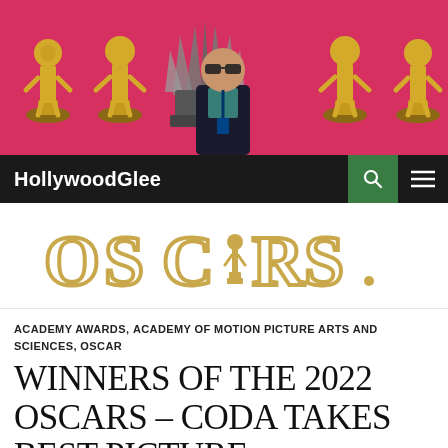[Figure (photo): Header photo showing a man in a dark blazer standing in front of a Game of Thrones-style iron throne prop surrounded by golden Oscar statue replicas on a bright pink/red background]
HollywoodGlee
[Figure (logo): OSCARS. logo in gold lettering with a gold Oscar statuette replacing the A in OSCARS]
ACADEMY AWARDS, ACADEMY OF MOTION PICTURE ARTS AND SCIENCES, OSCAR
WINNERS OF THE 2022 OSCARS – CODA TAKES BEST PICTURE
MARCH 27, 2022  HOLLYWOODGLEE  LEAVE A COMMENT